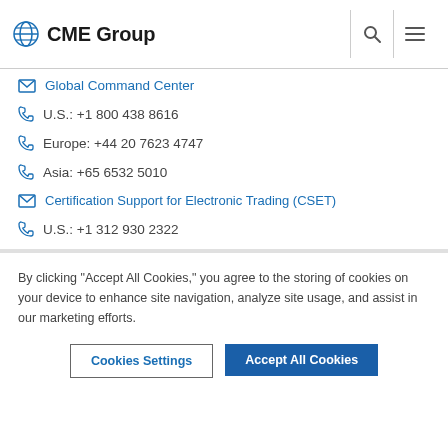CME Group
Global Command Center
U.S.: +1 800 438 8616
Europe: +44 20 7623 4747
Asia: +65 6532 5010
Certification Support for Electronic Trading (CSET)
U.S.: +1 312 930 2322
By clicking “Accept All Cookies,” you agree to the storing of cookies on your device to enhance site navigation, analyze site usage, and assist in our marketing efforts.
Cookies Settings | Accept All Cookies